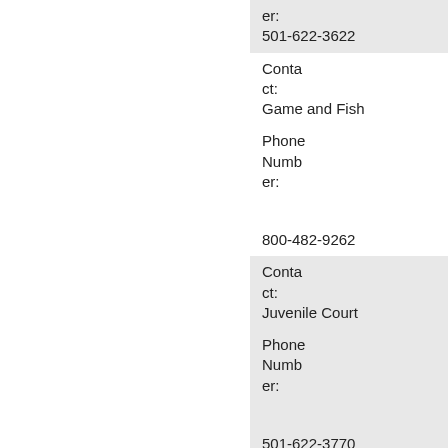| Field | Value |
| --- | --- |
| Phone Number: | 501-622-3622 |
| Contact: | Game and Fish |
| Phone Number: | 800-482-9262 |
| Contact: | Juvenile Court |
| Phone Number: | 501-622-3770 |
| Contact: | Probation / Parole |
| Phone Number: | 501-624-3347 |
| Contact: |  |